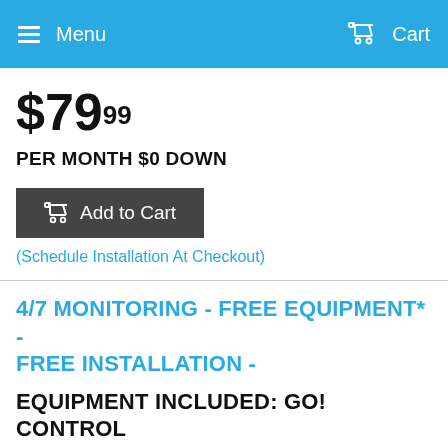Menu   Cart
$79.99
PER MONTH $0 DOWN
[Figure (other): Add to Cart button with shopping cart icon]
(Schedule Installation At Checkout)
4/7 MONITORING - FREE EQUIPMENT* - FREE INSTALLATION -
EQUIPMENT INCLUDED: GO! CONTROL PANEL, 4 HD CAMERAS, 1TB DVR RECORDER,